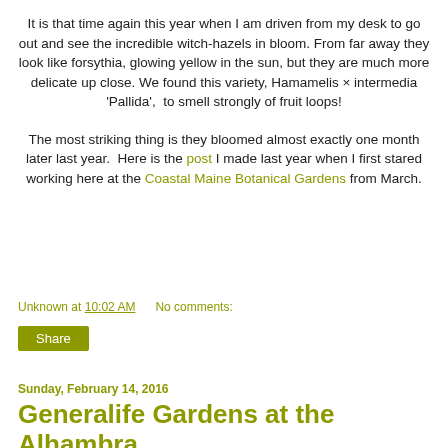It is that time again this year when I am driven from my desk to go out and see the incredible witch-hazels in bloom. From far away they look like forsythia, glowing yellow in the sun, but they are much more delicate up close. We found this variety, Hamamelis × intermedia 'Pallida',  to smell strongly of fruit loops!
The most striking thing is they bloomed almost exactly one month later last year.  Here is the post I made last year when I first stared working here at the Coastal Maine Botanical Gardens from March.
Unknown at 10:02 AM   No comments:
Share
Sunday, February 14, 2016
Generalife Gardens at the Alhambra